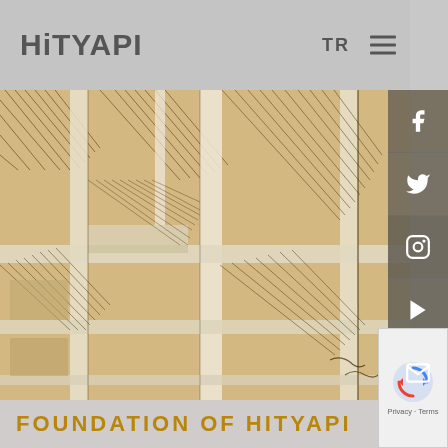HITYAPI
TR
[Figure (illustration): Architectural sketch/drawing of a building facade with hatching lines, balconies, and structural elements in sepia/brown tones]
[Figure (screenshot): Social media sidebar with Facebook, Twitter, Instagram, YouTube, and Email icons in dark grey boxes]
[Figure (other): Google reCAPTCHA widget with arrow icon and Privacy - Terms text]
FOUNDATION OF HiTYAPI